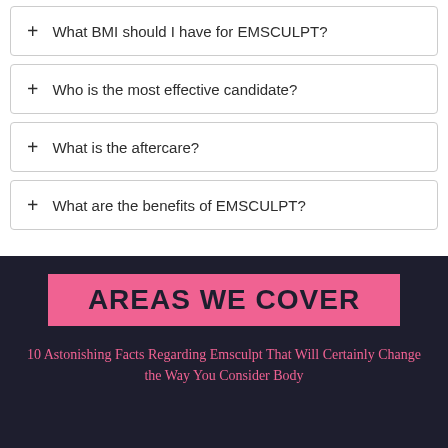+ What BMI should I have for EMSCULPT?
+ Who is the most effective candidate?
+ What is the aftercare?
+ What are the benefits of EMSCULPT?
AREAS WE COVER
10 Astonishing Facts Regarding Emsculpt That Will Certainly Change the Way You Consider Body